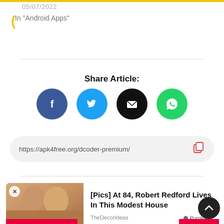05/07/2022
In "Android Apps"
Share Article:
https://apk4free.org/dcoder-premium/
[Figure (other): Advertisement showing two people with text: [Pics] At 84, Robert Redford Lives In This Modest House — TheDecorIdeas, PurpleAds]